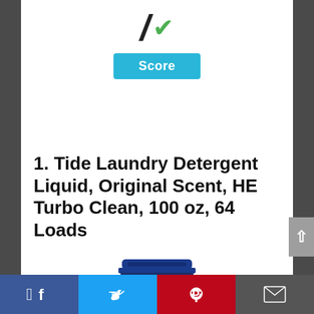[Figure (screenshot): Score area showing a slash mark and green checkmark icon above a cyan 'Score' button, partial view of a scoring widget at the top of the page.]
1. Tide Laundry Detergent Liquid, Original Scent, HE Turbo Clean, 100 oz, 64 Loads
[Figure (photo): Partial view of a Tide laundry detergent bottle showing the blue cap and top of the orange bottle body.]
[Figure (other): Social sharing bar at the bottom with Facebook, Twitter, Pinterest, and Email icons.]